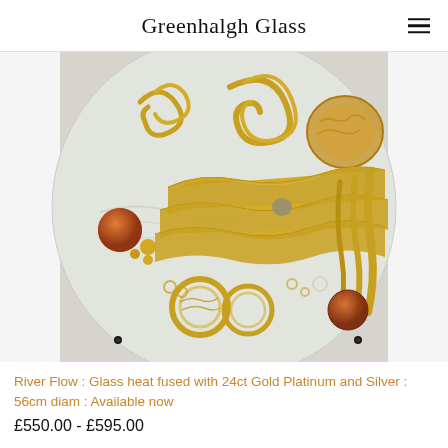Greenhalgh Glass
[Figure (photo): A circular fused glass artwork called River Flow, featuring gold, platinum and silver elements heat-fused onto clear glass, with swirling golden forms, amber glass orbs, and circular motifs on a white/grey background. The piece is approximately 56cm in diameter.]
River Flow : Glass heat fused with 24ct Gold Platinum and Silver : 56cm diam : Available now
£550.00 - £595.00